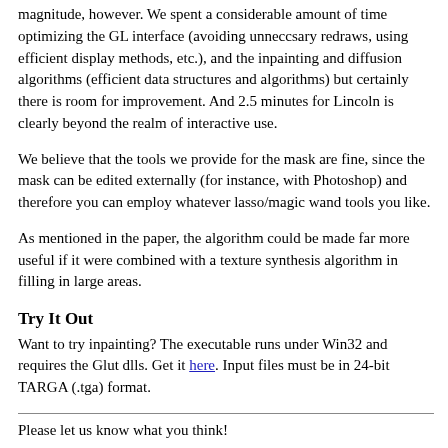magnitude, however. We spent a considerable amount of time optimizing the GL interface (avoiding unneccsary redraws, using efficient display methods, etc.), and the inpainting and diffusion algorithms (efficient data structures and algorithms) but certainly there is room for improvement. And 2.5 minutes for Lincoln is clearly beyond the realm of interactive use.
We believe that the tools we provide for the mask are fine, since the mask can be edited externally (for instance, with Photoshop) and therefore you can employ whatever lasso/magic wand tools you like.
As mentioned in the paper, the algorithm could be made far more useful if it were combined with a texture synthesis algorithm in filling in large areas.
Try It Out
Want to try inpainting? The executable runs under Win32 and requires the Glut dlls. Get it here. Input files must be in 24-bit TARGA (.tga) format.
Please let us know what you think!
aj@post.harvard.edu | wing@post.harvard.edu